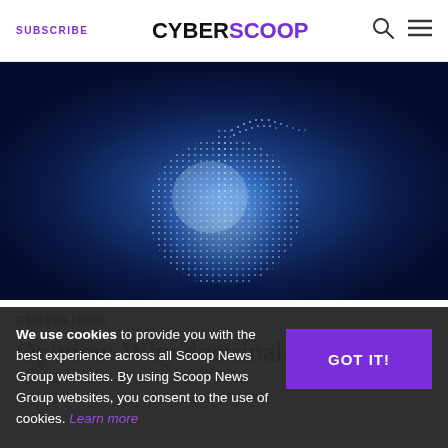SUBSCRIBE | CYBERSCOOP
[Figure (illustration): Digital bomb made of binary code dots on a dark blue radial gradient background, representing a cyber threat or cyber weapon concept.]
GEOPOLITICS
Opinion: Why doctrinal...
We use cookies to provide you with the best experience across all Scoop News Group websites. By using Scoop News Group websites, you consent to the use of cookies. Learn more
GOT IT!